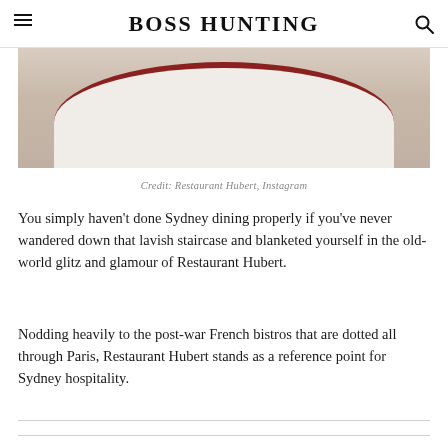BOSS HUNTING
[Figure (photo): Close-up photo of a white plate with a dark red/maroon rim on a wooden surface, partially cropped at the top of the page]
Credit: Restaurant Hubert, Instagram
You simply haven't done Sydney dining properly if you've never wandered down that lavish staircase and blanketed yourself in the old-world glitz and glamour of Restaurant Hubert.
Nodding heavily to the post-war French bistros that are dotted all through Paris, Restaurant Hubert stands as a reference point for Sydney hospitality.